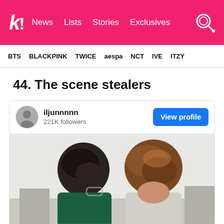k! News  Lists  Stories  Exclusives
BTS  BLACKPINK  TWICE  aespa  NCT  IVE  ITZY
44. The scene stealers
[Figure (screenshot): Instagram-style profile card for user 'iljunnnnn' with 221K followers and a 'View profile' button, followed by a photo of two young men seen from behind/side with dark and auburn hair, outdoors.]